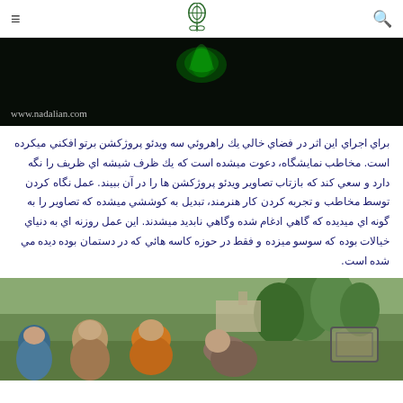nadalian.com — navigation header with logo
[Figure (photo): Dark/black background image with green glowing shape at top and URL text 'www.nadalian.com' at bottom left]
براي اجراي اين اثر در فضاي خالي يك راهروئي سه ويدئو پروژكشن برتو افكني ميكرده است. مخاطب نمايشگاه، دعوت ميشده است كه يك ظرف شيشه اي ظريف را نگه دارد و سعي كند كه بازتاب تصاوير ويدئو پروژكشن ها را در آن ببيند. عمل نگاه كردن توسط مخاطب و تجربه كردن كار هنرمند، تبديل به كوششي ميشده كه تصاوير را به گونه اي ميديده كه گاهي ادغام شده وگاهي نابديد ميشدند. اين عمل روزنه اي به دنياي خيالات بوده كه سوسو ميزده و فقط در حوزه كاسه هائي كه در دستمان بوده ديده مي شده است.
[Figure (photo): Outdoor photo showing several people in a green mountainous area, with a small framed box visible at the right side]